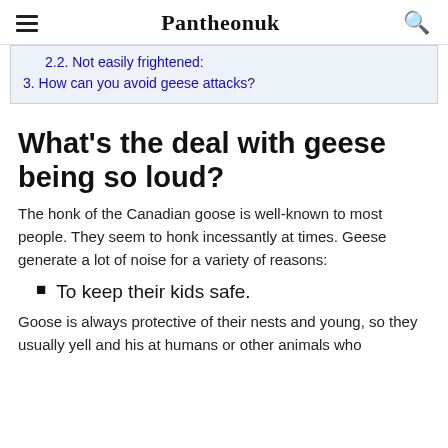Pantheonuk
2.2. Not easily frightened:
3. How can you avoid geese attacks?
What's the deal with geese being so loud?
The honk of the Canadian goose is well-known to most people. They seem to honk incessantly at times. Geese generate a lot of noise for a variety of reasons:
To keep their kids safe.
Goose is always protective of their nests and young, so they usually yell and his at humans or other animals who